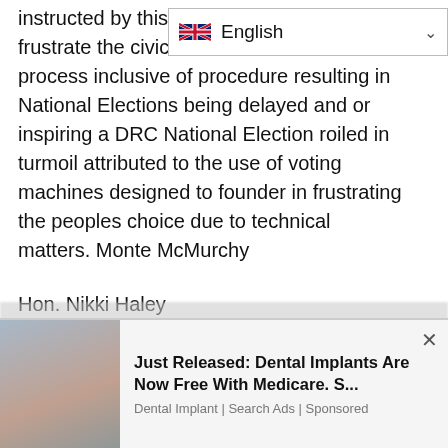instructed by this Ka... to frustrate the civic civil social electoral process inclusive of procedure resulting in National Elections being delayed and or inspiring a DRC National Election roiled in turmoil attributed to the use of voting machines designed to founder in frustrating the peoples choice due to technical matters. Monte McMurchy
Hon. Nikki Haley
United States Ambassador to the United Nations
Greetings Ambassador Haley,
National Elections in DRCongo scheduled for
[Figure (screenshot): Advertisement banner: photo of a woman on left, text 'Just Released: Dental Implants Are Now Free With Medicare. S...' with 'Dental Implant | Search Ads | Sponsored' below, and a close (x) button.]